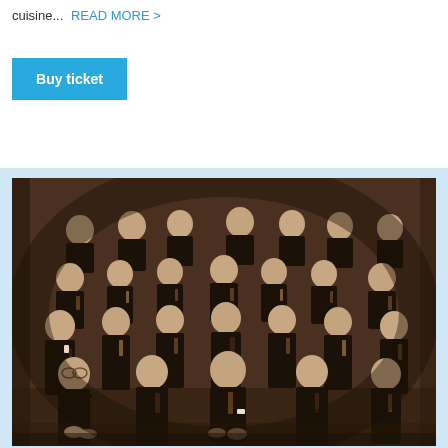cuisine...  READ MORE >
Buy ticket
[Figure (photo): Vintage sepia-toned group portrait photograph of approximately 20 young men and boys arranged in four rows, wearing dark suits and ties, posed against a plain dark background indoors.]